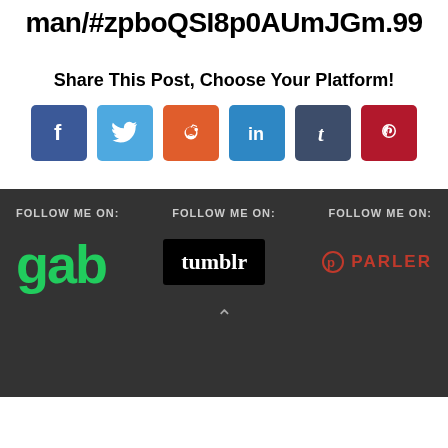man/#zpboQSI8p0AUmJGm.99
Share This Post, Choose Your Platform!
[Figure (infographic): Six social media share buttons: Facebook (dark blue, f), Twitter (light blue, bird), Reddit (orange, alien), LinkedIn (blue, in), Tumblr (dark blue, t), Pinterest (red, p)]
FOLLOW ME ON: (gab logo) | FOLLOW ME ON: (tumblr logo) | FOLLOW ME ON: (Parler logo)